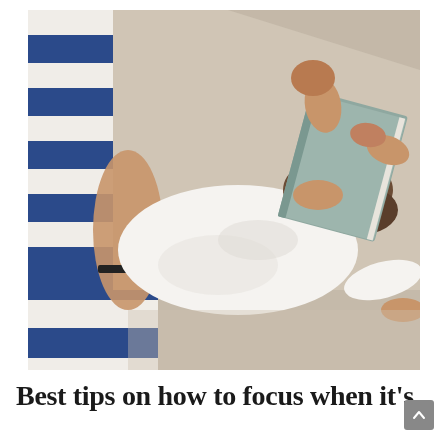[Figure (photo): A woman lying on a blue and white striped beach towel, wearing a white oversized shirt, holding a book over her face in bright sunlight.]
Best tips on how to focus when it's